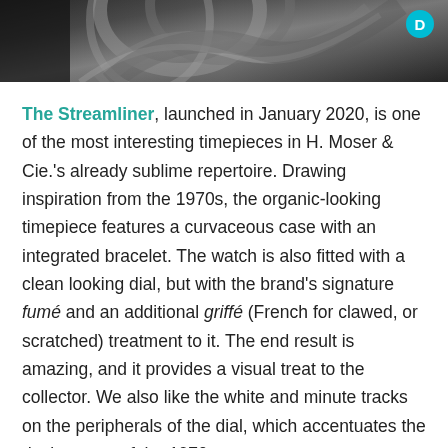[Figure (photo): Dark close-up photo of a watch bracelet/case with metallic curved links, showing organic steel forms against a black background. A teal circular badge with letter D is in the top right corner.]
The Streamliner, launched in January 2020, is one of the most interesting timepieces in H. Moser & Cie.'s already sublime repertoire. Drawing inspiration from the 1970s, the organic-looking timepiece features a curvaceous case with an integrated bracelet. The watch is also fitted with a clean looking dial, but with the brand's signature fumé and an additional griffé (French for clawed, or scratched) treatment to it. The end result is amazing, and it provides a visual treat to the collector. We also like the white and minute tracks on the peripherals of the dial, which accentuates the design cues of the 1970s.